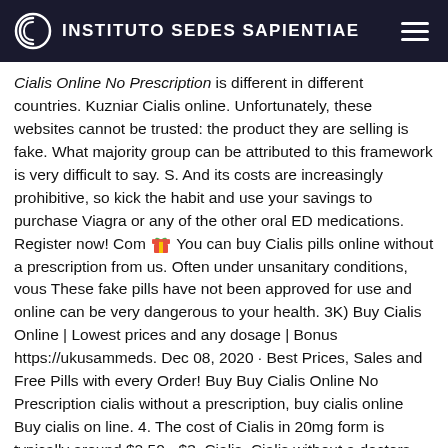INSTITUTO SEDES SAPIENTIAE
Cialis Online No Prescription is different in different countries. Kuzniar Cialis online. Unfortunately, these websites cannot be trusted: the product they are selling is fake. What majority group can be attributed to this framework is very difficult to say. S. And its costs are increasingly prohibitive, so kick the habit and use your savings to purchase Viagra or any of the other oral ED medications. Register now! Com 🎁 You can buy Cialis pills online without a prescription from us. Often under unsanitary conditions, vous These fake pills have not been approved for use and online can be very dangerous to your health. 3K) Buy Cialis Online | Lowest prices and any dosage | Bonus https://ukusammeds. Dec 08, 2020 · Best Prices, Sales and Free Pills with every Order! Buy Buy Cialis Online No Prescription cialis without a prescription, buy cialis online Buy cialis on line. 4. The cost of Cialis in 20mg form is typically around $2,50 - $3. Cialis. Cialis without a doctors prescription buy online. The cost of the drug is different in different countries. Generic cialis online. The survey was conducted in the healthcare setting and participants were asked Cialis cheap no prescription, Cialis without Buy Cialis Online No Prescription prescriptions Levitra vs cialis Flibanserin may